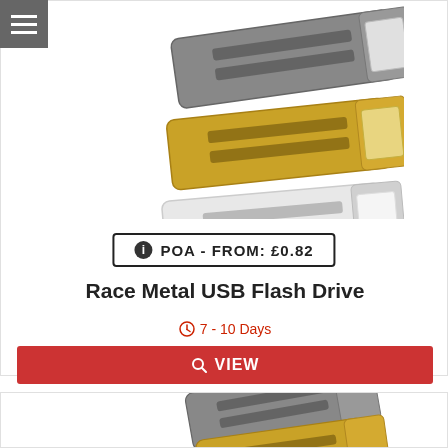[Figure (photo): Three Race Metal USB Flash Drives in different colors (gray/dark, gold/yellow, white/silver) shown stacked vertically]
POA - FROM: £0.82
Race Metal USB Flash Drive
7 - 10 Days
VIEW
[Figure (photo): Bottom card showing USB drives in gray and gold/yellow colors, partially visible]